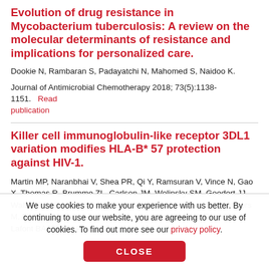Evolution of drug resistance in Mycobacterium tuberculosis: A review on the molecular determinants of resistance and implications for personalized care.
Dookie N, Rambaran S, Padayatchi N, Mahomed S, Naidoo K.
Journal of Antimicrobial Chemotherapy 2018; 73(5):1138-1151.  Read publication
Killer cell immunoglobulin-like receptor 3DL1 variation modifies HLA-B* 57 protection against HIV-1.
Martin MP, Naranbhai V, Shea PR, Qi Y, Ramsuran V, Vince N, Gao X, Thomas R, Brumme ZL, Carlson JM, Wolinsky SM, Goedert JJ, Walker BD, Segal FP, Deeks SG, Haas DW, Migueles SA, Connors M, Michael N, Fellay J, Gostick E, Llewellyn-Lacey S, Price DA, Lafont BA, Pymm P,
We use cookies to make your experience with us better. By continuing to use our website, you are agreeing to our use of cookies. To find out more see our privacy policy.